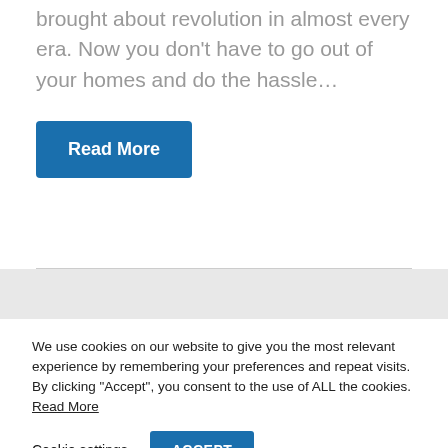brought about revolution in almost every era. Now you don't have to go out of your homes and do the hassle...
Read More
We use cookies on our website to give you the most relevant experience by remembering your preferences and repeat visits. By clicking "Accept", you consent to the use of ALL the cookies. Read More
Cookie settings
ACCEPT